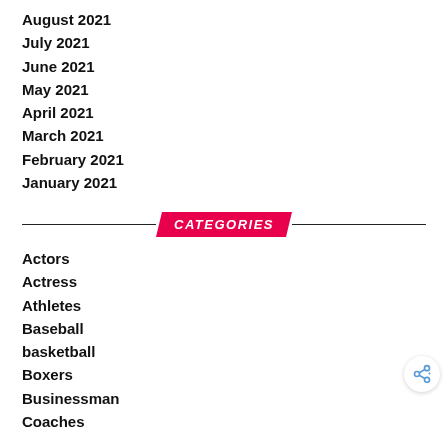August 2021
July 2021
June 2021
May 2021
April 2021
March 2021
February 2021
January 2021
CATEGORIES
Actors
Actress
Athletes
Baseball
basketball
Boxers
Businessman
Coaches